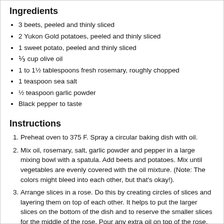Ingredients
3 beets, peeled and thinly sliced
2 Yukon Gold potatoes, peeled and thinly sliced
1 sweet potato, peeled and thinly sliced
⅓ cup olive oil
1 to 1½ tablespoons fresh rosemary, roughly chopped
1 teaspoon sea salt
½ teaspoon garlic powder
Black pepper to taste
Instructions
Preheat oven to 375 F. Spray a circular baking dish with oil.
Mix oil, rosemary, salt, garlic powder and pepper in a large mixing bowl with a spatula. Add beets and potatoes. Mix until vegetables are evenly covered with the oil mixture. (Note: The colors might bleed into each other, but that's okay!).
Arrange slices in a rose. Do this by creating circles of slices and layering them on top of each other. It helps to put the larger slices on the bottom of the dish and to reserve the smaller slices for the middle of the rose. Pour any extra oil on top of the rose.
Cover with foil. Bake for around 60 minutes, until potatoes and beets can be easily pierced with a fork. Bake for 25 to 30 more minutes, uncovered, or until desired crispiness is reached.
Notes